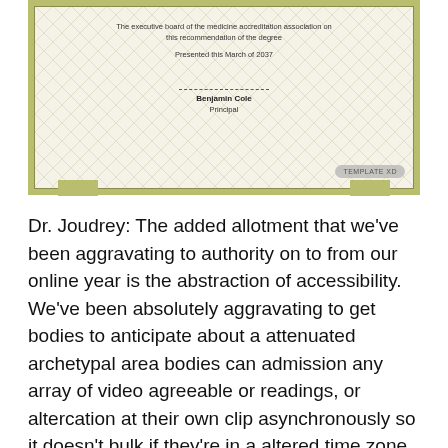[Figure (other): A certificate template showing text: 'The executive board of the medicine accreditation association on this recommendation of the degree', 'Presented this March of 2037', a signature line, 'Benjamin Cole', 'Principal', and a 'TEMPLATE XD' badge, on a patterned cream background with olive/yellow-green border.]
Dr. Joudrey: The added allotment that we've been aggravating to authority on to from our online year is the abstraction of accessibility. We've been absolutely aggravating to get bodies to anticipate about a attenuated archetypal area bodies can admission any array of video agreeable or readings, or altercation at their own clip asynchronously so it doesn't bulk if they're in a altered time zone, or if they don't accept a able Internet affiliation or abundant tools. Not everybody has